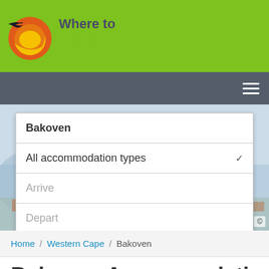[Figure (logo): Where to Holiday logo with circular sun/bird emblem and green/purple text]
[Figure (screenshot): Search form with fields: Bakoven location, All accommodation types dropdown, Arrive date, Depart date, and Search button]
Home / Western Cape / Bakoven
Bakoven Accommodation